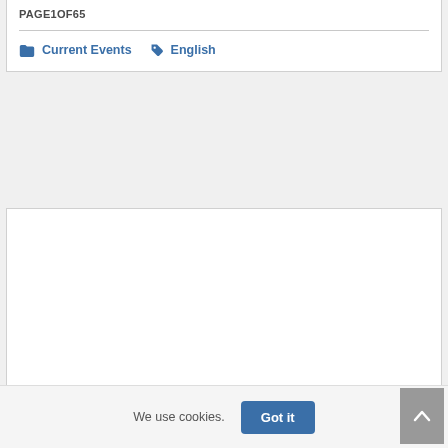PAGE1OF65
Current Events  English
[Figure (other): Large empty white box / embedded document viewer area]
STATE OF TENNESSEE 2021 MEMBER HANDBOOK - TN.GOV
We use cookies.
Got it